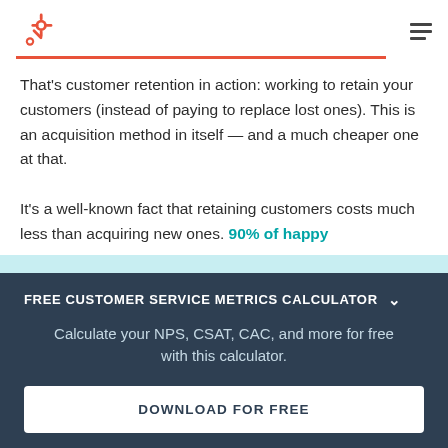HubSpot logo and navigation
That’s customer retention in action: working to retain your customers (instead of paying to replace lost ones). This is an acquisition method in itself — and a much cheaper one at that.

It’s a well-known fact that retaining customers costs much less than acquiring new ones. 90% of happy
FREE CUSTOMER SERVICE METRICS CALCULATOR
Calculate your NPS, CSAT, CAC, and more for free with this calculator.
DOWNLOAD FOR FREE